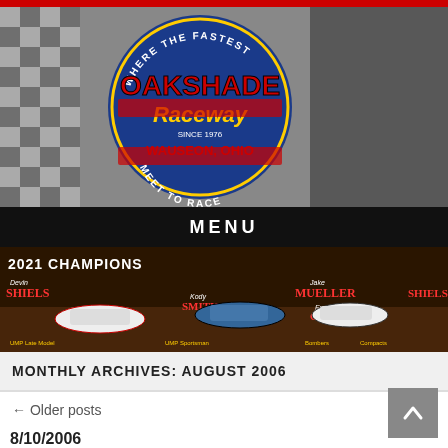[Figure (logo): Oakshade Raceway logo with checkered flag background banner. Logo shows circular badge with 'WHERE THE FASTEST', 'OAKSHADE', 'Raceway', 'SINCE 1976', 'WAUSEON, OHIO', 'MEET TO RACE']
MENU
[Figure (photo): 2021 Champions banner showing race cars for each class: Shiels (UMP Late Model), Kody Smith (UMP Sportsman), Mueller (Bombers), Carr (Compacts), Shiels (Attica/Oakshade Series)]
MONTHLY ARCHIVES: AUGUST 2006
← Older posts
8/10/2006